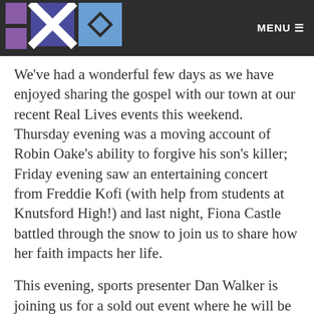MENU
We've had a wonderful few days as we have enjoyed sharing the gospel with our town at our recent Real Lives events this weekend. Thursday evening was a moving account of Robin Oake's ability to forgive his son's killer; Friday evening saw an entertaining concert from Freddie Kofi (with help from students at Knutsford High!) and last night, Fiona Castle battled through the snow to join us to share how her faith impacts her life.
This evening, sports presenter Dan Walker is joining us for a sold out event where he will be sharing how his faith has impacted his work in the media.